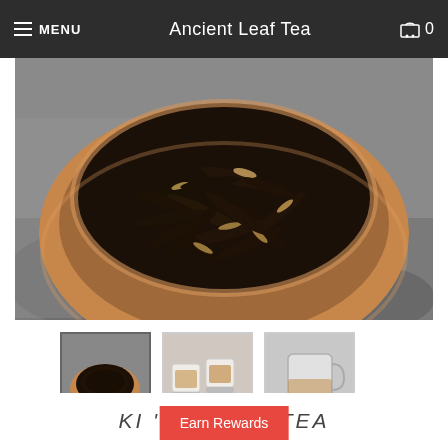MENU  Ancient Leaf Tea  0
[Figure (photo): Loose leaf black tea in a wooden bowl placed on stone surface, photographed from above]
[Figure (photo): Thumbnail 1: wooden bowl with loose leaf tea]
[Figure (photo): Thumbnail 2: two white teacups with brewed tea]
[Figure (photo): Thumbnail 3: glass cup with brewed tea]
KI 'ELE CK TEA
Earn Rewards